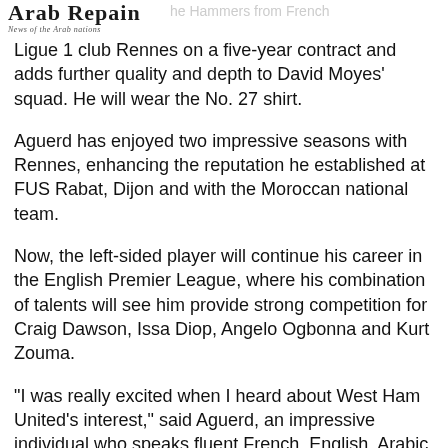Arab Repain News of the Arab nations
Ligue 1 club Rennes on a five-year contract and adds further quality and depth to David Moyes' squad. He will wear the No. 27 shirt.
Aguerd has enjoyed two impressive seasons with Rennes, enhancing the reputation he established at FUS Rabat, Dijon and with the Moroccan national team.
Now, the left-sided player will continue his career in the English Premier League, where his combination of talents will see him provide strong competition for Craig Dawson, Issa Diop, Angelo Ogbonna and Kurt Zouma.
"I was really excited when I heard about West Ham United's interest," said Aguerd, an impressive individual who speaks fluent French, English, Arabic and Spanish.